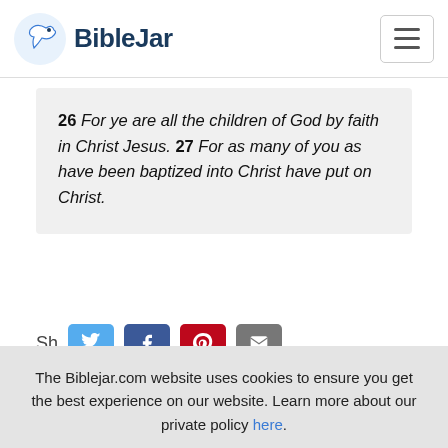BibleJar
26 For ye are all the children of God by faith in Christ Jesus. 27 For as many of you as have been baptized into Christ have put on Christ.
The Biblejar.com website uses cookies to ensure you get the best experience on our website. Learn more about our private policy here.
Got it!